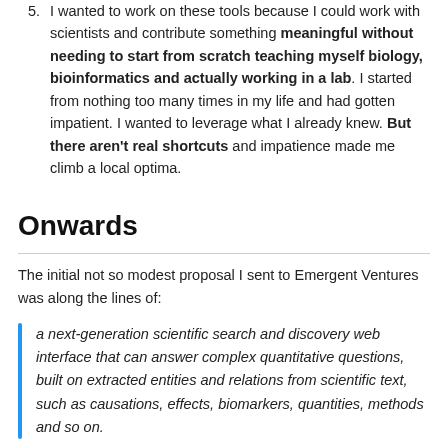I wanted to work on these tools because I could work with scientists and contribute something meaningful without needing to start from scratch teaching myself biology, bioinformatics and actually working in a lab. I started from nothing too many times in my life and had gotten impatient. I wanted to leverage what I already knew. But there aren't real shortcuts and impatience made me climb a local optima.
Onwards
The initial not so modest proposal I sent to Emergent Ventures was along the lines of:
a next-generation scientific search and discovery web interface that can answer complex quantitative questions, built on extracted entities and relations from scientific text, such as causations, effects, biomarkers, quantities, methods and so on.